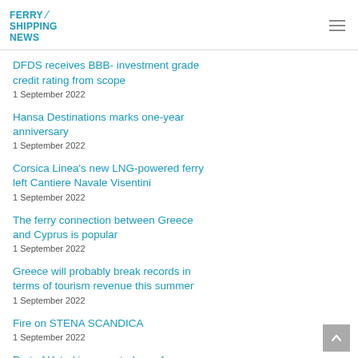FERRY SHIPPING NEWS
DFDS receives BBB- investment grade credit rating from scope
1 September 2022
Hansa Destinations marks one-year anniversary
1 September 2022
Corsica Linea's new LNG-powered ferry left Cantiere Navale Visentini
1 September 2022
The ferry connection between Greece and Cyprus is popular
1 September 2022
Greece will probably break records in terms of tourism revenue this summer
1 September 2022
Fire on STENA SCANDICA
1 September 2022
Port of Ystad inaugurated new ferry